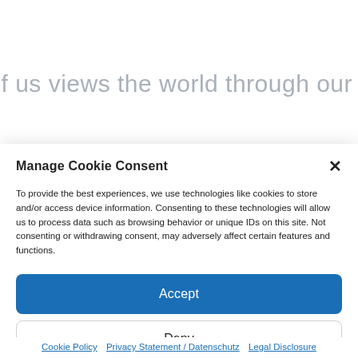Each of us views the world through our unique
Manage Cookie Consent
To provide the best experiences, we use technologies like cookies to store and/or access device information. Consenting to these technologies will allow us to process data such as browsing behavior or unique IDs on this site. Not consenting or withdrawing consent, may adversely affect certain features and functions.
Accept
Deny
View preferences
Cookie Policy   Privacy Statement / Datenschutz   Legal Disclosure